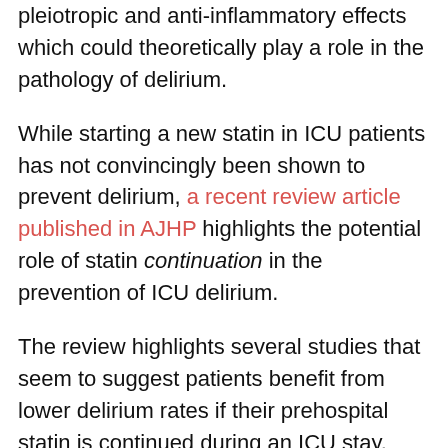pleiotropic and anti-inflammatory effects which could theoretically play a role in the pathology of delirium.
While starting a new statin in ICU patients has not convincingly been shown to prevent delirium, a recent review article published in AJHP highlights the potential role of statin continuation in the prevention of ICU delirium.
The review highlights several studies that seem to suggest patients benefit from lower delirium rates if their prehospital statin is continued during an ICU stay.